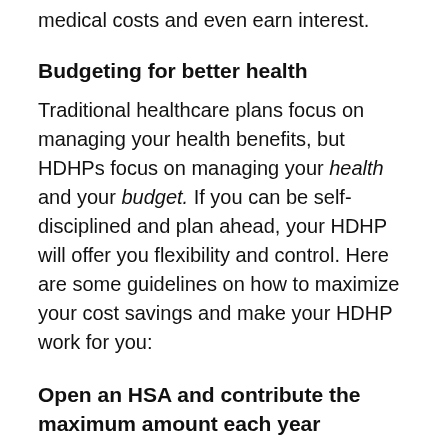medical costs and even earn interest.
Budgeting for better health
Traditional healthcare plans focus on managing your health benefits, but HDHPs focus on managing your health and your budget. If you can be self-disciplined and plan ahead, your HDHP will offer you flexibility and control. Here are some guidelines on how to maximize your cost savings and make your HDHP work for you:
Open an HSA and contribute the maximum amount each year
To open and put money into a Health Savings Account (HSA), you must have an HDHP. This is regulated by the Internal Revenue Service.